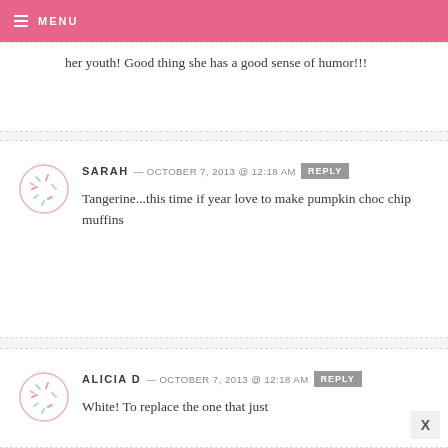MENU
her youth! Good thing she has a good sense of humor!!!
SARAH — OCTOBER 7, 2013 @ 12:18 AM REPLY
Tangerine...this time if year love to make pumpkin choc chip muffins
ALICIA D — OCTOBER 7, 2013 @ 12:18 AM REPLY
White! To replace the one that just